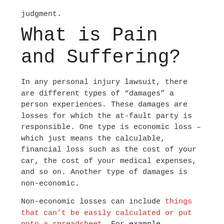judgment.
What is Pain and Suffering?
In any personal injury lawsuit, there are different types of “damages” a person experiences. These damages are losses for which the at-fault party is responsible. One type is economic loss – which just means the calculable, financial loss such as the cost of your car, the cost of your medical expenses, and so on. Another type of damages is non-economic.
Non-economic losses can include things that can’t be easily calculated or put onto a spreadsheet. For example, economic loss may include the cost of